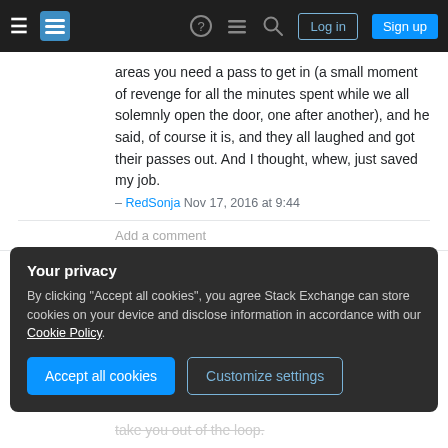Stack Exchange navigation bar with hamburger menu, logo, help, chat, search icons, Log in and Sign up buttons
areas you need a pass to get in (a small moment of revenge for all the minutes spent while we all solemnly open the door, one after another), and he said, of course it is, and they all laughed and got their passes out. And I thought, whew, just saved my job.
– RedSonja Nov 17, 2016 at 9:44
Add a comment
I would not report this to a person directly; that's an avenue for trouble as it won't necessarily be anonymous.
Your privacy
By clicking "Accept all cookies", you agree Stack Exchange can store cookies on your device and disclose information in accordance with our Cookie Policy.
Accept all cookies  Customize settings
take you out of the loop.